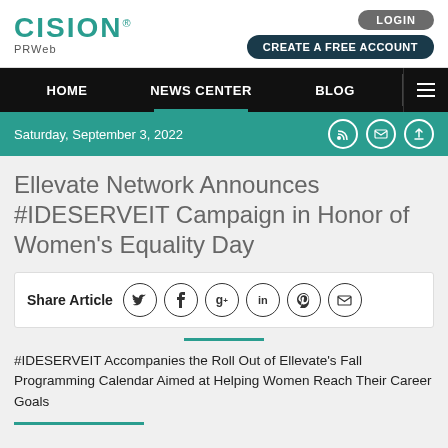CISION PRWeb
LOGIN | CREATE A FREE ACCOUNT
HOME | NEWS CENTER | BLOG
Saturday, September 3, 2022
Ellevate Network Announces #IDESERVEIT Campaign in Honor of Women's Equality Day
Share Article
#IDESERVEIT Accompanies the Roll Out of Ellevate's Fall Programming Calendar Aimed at Helping Women Reach Their Career Goals